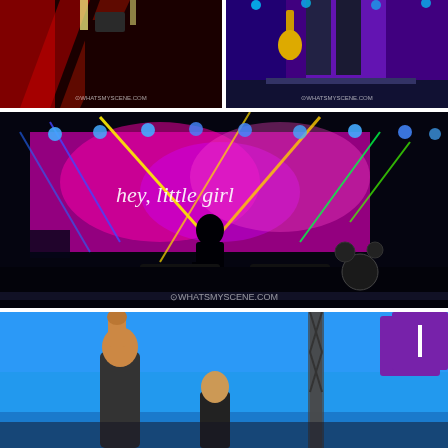[Figure (photo): Concert photo: performer on stage under red lighting with dramatic red curtain/backdrop. Watermark: WHATSMYSCENE.COM]
[Figure (photo): Concert photo: guitarist on stage under purple/blue lighting holding guitar. Watermark: WHATSMYSCENE.COM]
[Figure (photo): Wide concert stage photo: silhouette of performer against large LED screen showing 'hey, little girl' text with colorful laser lights in pink, yellow, blue, green. Drum kit visible on right. Watermark: WHATSMYSCENE.COM]
[Figure (photo): Concert outdoor photo: performer raising fist under blue sky with stage truss visible. Purple square icon in top right corner.]